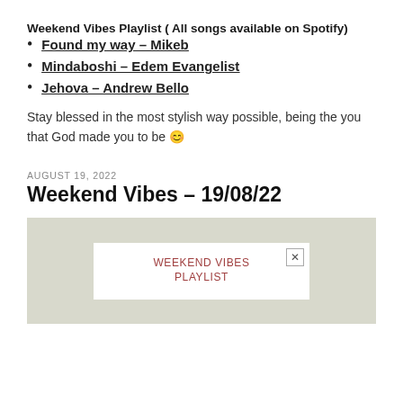Weekend Vibes Playlist ( All songs available on Spotify)
Found my way – Mikeb
Mindaboshi – Edem Evangelist
Jehova – Andrew Bello
Stay blessed in the most stylish way possible, being the you that God made you to be 😊
AUGUST 19, 2022
Weekend Vibes – 19/08/22
[Figure (screenshot): Spotify-style playlist card with olive/beige background and a white inner card showing 'WEEKEND VIBES PLAYLIST' in dark red text with a close button (×) in the top right corner.]